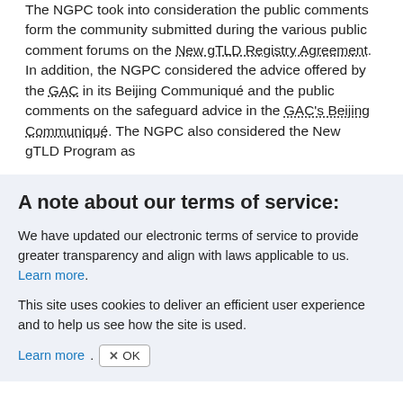The NGPC took into consideration the public comments form the community submitted during the various public comment forums on the New gTLD Registry Agreement. In addition, the NGPC considered the advice offered by the GAC in its Beijing Communiqué and the public comments on the safeguard advice in the GAC's Beijing Communiqué. The NGPC also considered the New gTLD Program as
A note about our terms of service:
We have updated our electronic terms of service to provide greater transparency and align with laws applicable to us. Learn more.
This site uses cookies to deliver an efficient user experience and to help us see how the site is used.
Learn more. OK